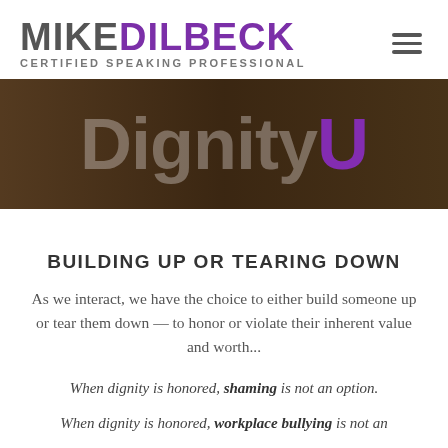MIKEDILBECK CERTIFIED SPEAKING PROFESSIONAL
[Figure (photo): Banner image with people celebrating outdoors overlaid with 'DignityU' text watermark in grey and purple]
BUILDING UP OR TEARING DOWN
As we interact, we have the choice to either build someone up or tear them down — to honor or violate their inherent value and worth...
When dignity is honored, shaming is not an option.
When dignity is honored, workplace bullying is not an